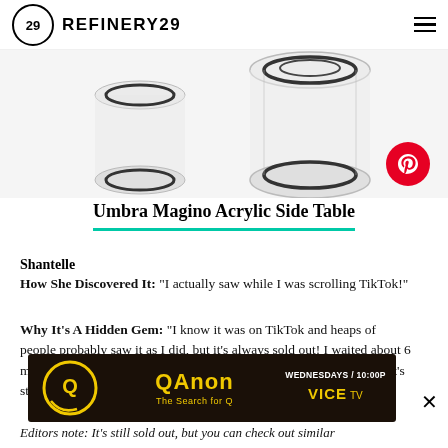REFINERY29
[Figure (photo): Photograph of Umbra Magino Acrylic Side Table, a clear acrylic cylindrical table with metal ring hardware, shown from above/side on white background]
Umbra Magino Acrylic Side Table
Shantelle
How She Discovered It: "I actually saw while I was scrolling TikTok!"
Why It's A Hidden Gem: "I know it was on TikTok and heaps of people probably saw it as I did, but it's always sold out! I waited about 6 months for it to come back in stock and it's my favourite thing ever. It's sturdy and I have all my magazines out on disp
[Figure (other): QAnon: The Search for Q advertisement banner on VICE TV, Wednesdays 10:00P]
Editors note: It's still sold out, but you can check out similar